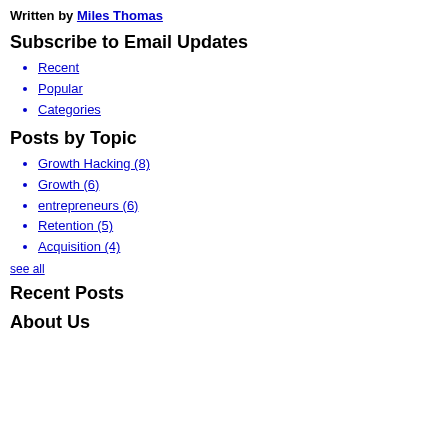Written by Miles Thomas
Subscribe to Email Updates
Recent
Popular
Categories
Posts by Topic
Growth Hacking (8)
Growth (6)
entrepreneurs (6)
Retention (5)
Acquisition (4)
see all
Recent Posts
About Us